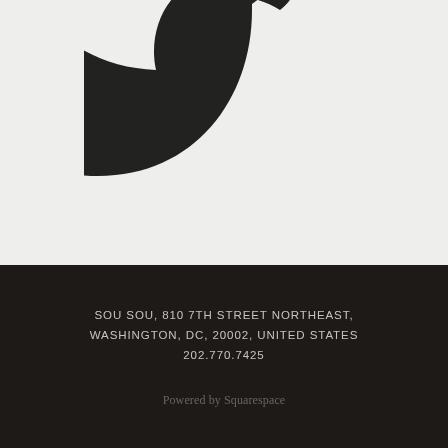[Figure (logo): Twitter bird logo in dark/black color on a light gray background, partially cropped at top]
SOU SOU, 810 7TH STREET NORTHEAST, WASHINGTON, DC, 20002, UNITED STATES
202.770.7425
Powered by Squarespace